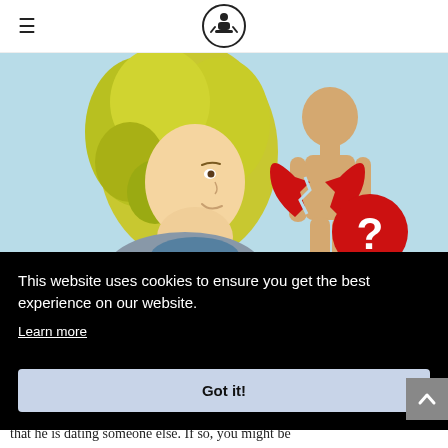☰ [logo icon]
[Figure (illustration): Illustration of a woman with curly blonde hair looking at a featureless human silhouette with a broken red heart and a red circle containing a white question mark, on a light blue background.]
This website uses cookies to ensure you get the best experience on our website.
Learn more
Got it!
that he is dating someone else. If so, you might be